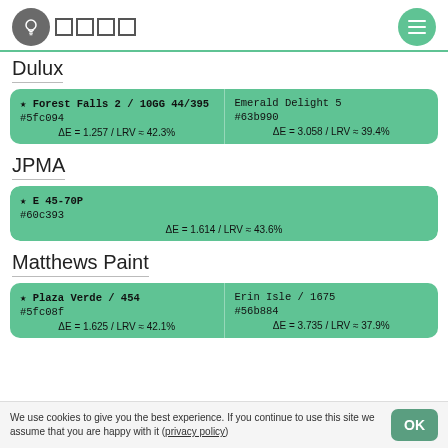Tints / logo header with menu button
Dulux
| Color 1 | Color 2 |
| --- | --- |
| ★ Forest Falls 2 / 10GG 44/395
#5fc094
ΔE = 1.257 / LRV ≈ 42.3% | Emerald Delight 5
#63b990
ΔE = 3.058 / LRV ≈ 39.4% |
JPMA
| Color 1 |
| --- |
| ★ E 45-70P
#60c393
ΔE = 1.614 / LRV ≈ 43.6% |
Matthews Paint
| Color 1 | Color 2 |
| --- | --- |
| ★ Plaza Verde / 454
#5fc08f
ΔE = 1.625 / LRV ≈ 42.1% | Erin Isle / 1675
#56b884
ΔE = 3.735 / LRV ≈ 37.9% |
We use cookies to give you the best experience. If you continue to use this site we assume that you are happy with it (privacy policy)